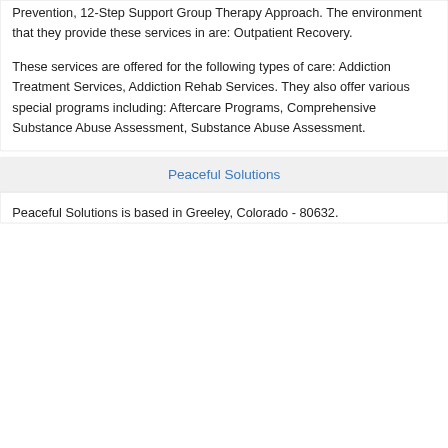Prevention, 12-Step Support Group Therapy Approach. The environment that they provide these services in are: Outpatient Recovery.
These services are offered for the following types of care: Addiction Treatment Services, Addiction Rehab Services. They also offer various special programs including: Aftercare Programs, Comprehensive Substance Abuse Assessment, Substance Abuse Assessment.
Peaceful Solutions
Peaceful Solutions is based in Greeley, Colorado - 80632.